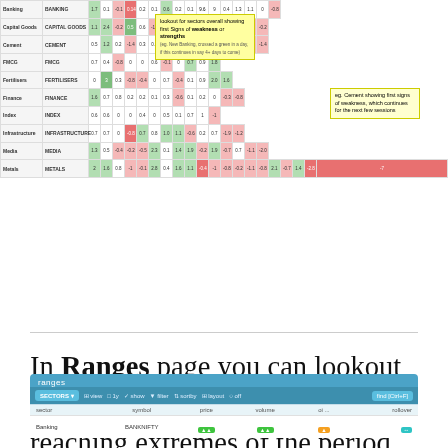[Figure (screenshot): A color-coded sector ranges table showing banking, capital goods, cement, FMCG, fertilisers, finance, index, infrastructure, media, metals and other sectors with numerical values. Two yellow tooltip callout boxes are overlaid: one says 'lookout for sectors overall showing first signs of weakness or strengths' and another says 'eg. Cement showing first signs of weakness which continues for the next few sessions'.]
In Ranges page you can lookout for sectors where F&O data reaching extremes of the period ranges and especially if there is a gap or divergence of 2 parameters like price & oi
[Figure (screenshot): A financial data interface showing a 'ranges' page with a SECTORS dropdown, view, 1y, show, filter, sortby, layout, off controls, and a find/Ctrl+F search box. Column headers: sector, symbol, price, volume, oi..., rollover. One data row partially visible at the bottom with colored indicator cells.]